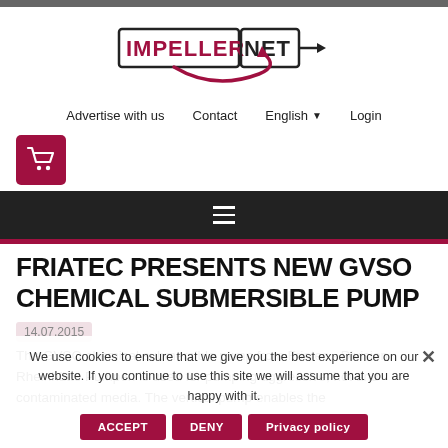[Figure (logo): Impeller.net logo with bold IMPELLER text in box and NET with arrow, dark red swoosh underneath]
Advertise with us   Contact   English ▼   Login
[Figure (illustration): Shopping cart icon in dark red rounded square]
FRIATEC PRESENTS NEW GVSO CHEMICAL SUBMERSIBLE PUMP
14.07.2015
The GVSO chemical submersible pump from Friatec - Division Rheinhütte Pumpen is used for pumping aggressive, hot and contaminated media. The vertical pump enables the
We use cookies to ensure that we give you the best experience on our website. If you continue to use this site we will assume that you are happy with it.
ACCEPT   DENY   Privacy policy